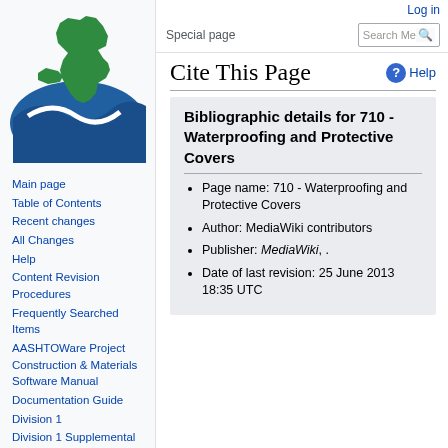[Figure (logo): Michigan state outline logo with green state map and blue wave/water graphic]
Main page
Table of Contents
Recent changes
All Changes
Help
Content Revision Procedures
Frequently Searched Items
AASHTOWare Project Construction & Materials Software Manual
Documentation Guide
Division 1
Division 1 Supplemental
Log in
Special page | Search Me
Cite This Page
Bibliographic details for 710 - Waterproofing and Protective Covers
Page name: 710 - Waterproofing and Protective Covers
Author: MediaWiki contributors
Publisher: MediaWiki, .
Date of last revision: 25 June 2013 18:35 UTC